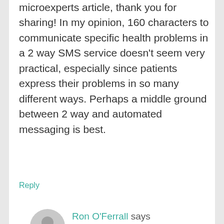microexperts article, thank you for sharing! In my opinion, 160 characters to communicate specific health problems in a 2 way SMS service doesn't seem very practical, especially since patients express their problems in so many different ways. Perhaps a middle ground between 2 way and automated messaging is best.
Reply
Ron O'Ferrall says
January 31, 2013 at 7:51 pm
Great point Jessica. We are testing a feature now that allows for more